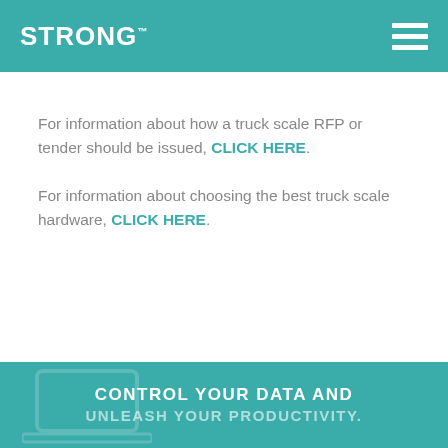STRONG
For information about how a truck scale RFP or tender should be issued, CLICK HERE.
For information about choosing the best truck scale hardware, CLICK HERE.
CONTROL YOUR DATA AND UNLEASH YOUR PRODUCTIVITY.